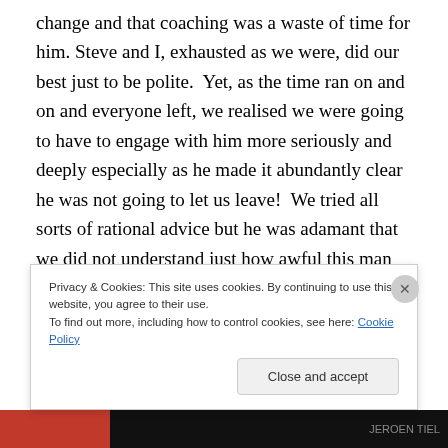change and that coaching was a waste of time for him. Steve and I, exhausted as we were, did our best just to be polite.  Yet, as the time ran on and on and everyone left, we realised we were going to have to engage with him more seriously and deeply especially as he made it abundantly clear he was not going to let us leave!  We tried all sorts of rational advice but he was adamant that we did not understand just how awful this man was and how appallingly he was behaving.  So I listened carefully and it became clear that the reality was that he had taken
Privacy & Cookies: This site uses cookies. By continuing to use this website, you agree to their use.
To find out more, including how to control cookies, see here: Cookie Policy
Close and accept